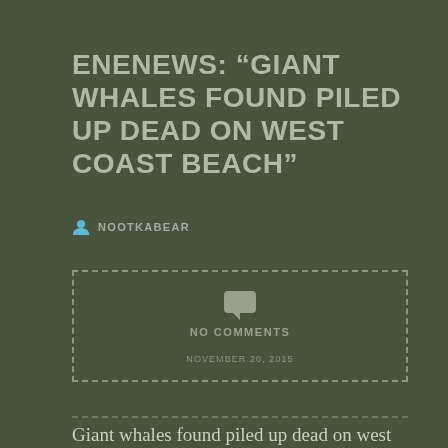ENENEWS: “GIANT WHALES FOUND PILED UP DEAD ON WEST COAST BEACH”
NOOTKABEAR
[Figure (infographic): Dashed-border box containing a speech bubble / comment icon, the text NO COMMENTS, and the date NOVEMBER 20, 2015]
Giant whales found piled up dead on west coast beach — Second largest animals on planet — Official: “It’s never